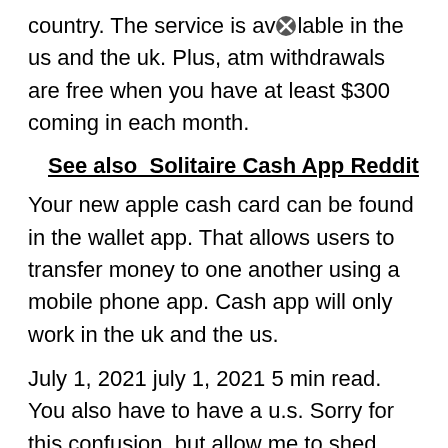country. The service is available in the us and the uk. Plus, atm withdrawals are free when you have at least $300 coming in each month.
See also  Solitaire Cash App Reddit
Your new apple cash card can be found in the wallet app. That allows users to transfer money to one another using a mobile phone app. Cash app will only work in the uk and the us.
July 1, 2021 july 1, 2021 5 min read. You also have to have a u.s. Sorry for this confusion, but allow me to shed some light on this.
Currently, the app is only available to users in the us